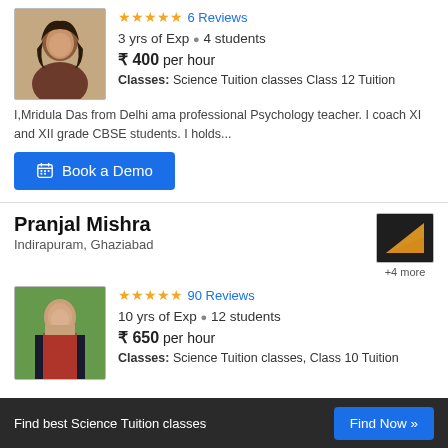[Figure (photo): Profile photo of a young woman with long dark hair]
★★★★★ 6 Reviews
3 yrs of Exp • 4 students
₹ 400 per hour
Classes: Science Tuition classes Class 12 Tuition
I,Mridula Das from Delhi ama professional Psychology teacher. I coach XI and XII grade CBSE students. I holds...
Book a Demo
Pranjal Mishra
Indirapuram, Ghaziabad
[Figure (photo): Small thumbnail image (dark triangle/geometry diagram)]
+4 more
[Figure (photo): Profile photo of a man in black blazer and red shirt]
★★★★★ 90 Reviews
10 yrs of Exp • 12 students
₹ 650 per hour
Classes: Science Tuition classes, Class 10 Tuition
Find best Science Tuition classes   Find Now »